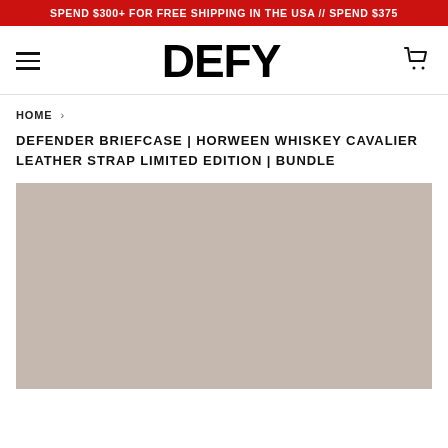SPEND $300+ FOR FREE SHIPPING IN THE USA // SPEND $375
[Figure (logo): DEFY brand logo with hamburger menu icon on the left and shopping cart icon on the right]
HOME ›
DEFENDER BRIEFCASE | HORWEEN WHISKEY CAVALIER LEATHER STRAP LIMITED EDITION | BUNDLE
[Figure (photo): Product image placeholder with beige/tan background color]